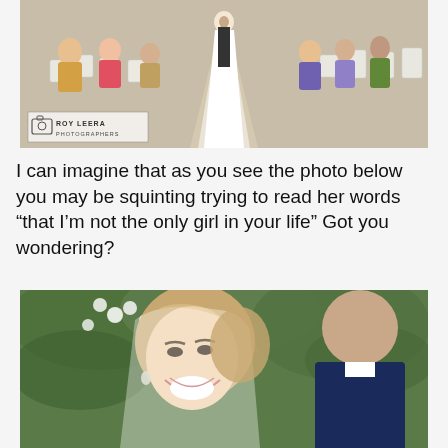[Figure (photo): Wedding ceremony photo showing bride walking down the aisle in a white dress with a long train, guests seated on both sides, with 'Roy Leera Photographers' watermark in lower left corner.]
I can imagine that as you see the photo below you may be squinting trying to read her words “that I’m not the only girl in your life” Got you wondering?
[Figure (photo): Close-up wedding photo of a smiling blonde bride in a veil looking at the groom whose back is to the camera, with green foliage in the background.]